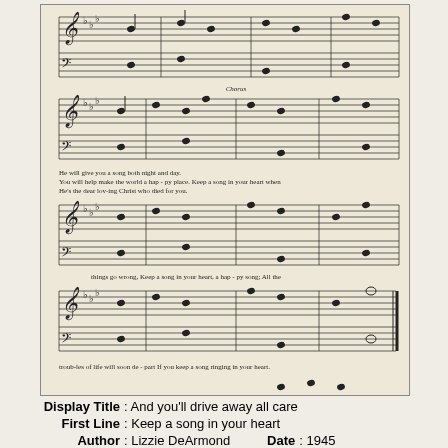[Figure (illustration): Sheet music for a hymn/song. Musical notation shown across multiple staves with treble and bass clefs in a flat key signature. Lyrics include: 'He will give you a song both night and day. / You will help make the world a hap-py place. Keep a song in your heart when / He's the dear lov-ing Christ who died for you.' and 'things go wrong, Keep a song in your heart, a hap-py song; All the' and 'troub-les of life will soon de-part If you keep a song ringing in your heart.' The word 'Chorus' appears above the second system.]
Display Title   : And you'll drive away all care
First Line   : Keep a song in your heart
Author   : Lizzie DeArmond   Date   : 1945